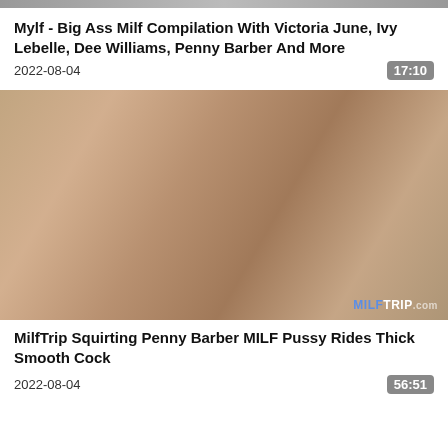[Figure (photo): Thumbnail image for first video entry (partially visible at top)]
Mylf - Big Ass Milf Compilation With Victoria June, Ivy Lebelle, Dee Williams, Penny Barber And More
2022-08-04
17:10
[Figure (photo): Video thumbnail showing adult content with MILFTRIP.com watermark]
MilfTrip Squirting Penny Barber MILF Pussy Rides Thick Smooth Cock
2022-08-04
56:51